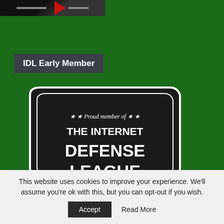[Figure (screenshot): Partial top image with dark background and red arrow/logo element]
IDL Early Member
[Figure (logo): Internet Defense League badge/shield logo. Black shield shape with white text: 'Proud member of THE INTERNET DEFENSE LEAGUE' and 'EST 2012' on a banner ribbon. Stars decorating the text.]
This website uses cookies to improve your experience. We'll assume you're ok with this, but you can opt-out if you wish.
Accept   Read More